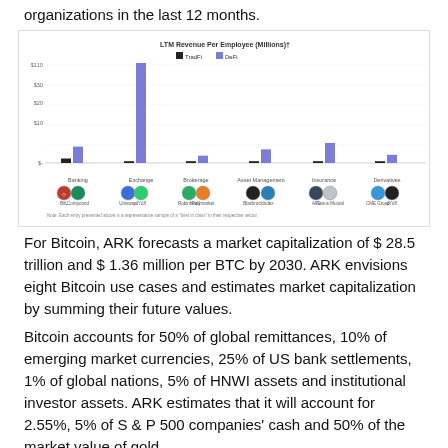organizations in the last 12 months.
[Figure (grouped-bar-chart): LTM Revenue Per Employee (Millions)†]
For Bitcoin, ARK forecasts a market capitalization of $ 28.5 trillion and $ 1.36 million per BTC by 2030. ARK envisions eight Bitcoin use cases and estimates market capitalization by summing their future values.
Bitcoin accounts for 50% of global remittances, 10% of emerging market currencies, 25% of US bank settlements, 1% of global nations, 5% of HNWI assets and institutional investor assets. ARK estimates that it will account for 2.55%, 5% of S & P 500 companies' cash and 50% of the market value of gold.